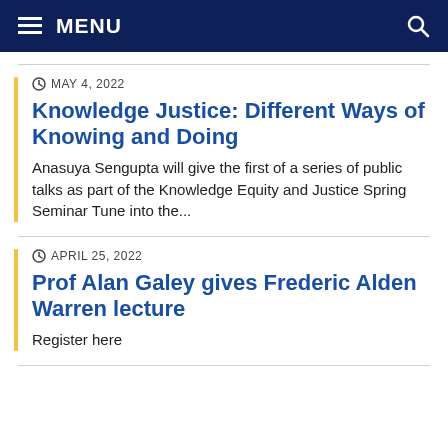MENU
MAY 4, 2022
Knowledge Justice: Different Ways of Knowing and Doing
Anasuya Sengupta will give the first of a series of public talks as part of the Knowledge Equity and Justice Spring Seminar Tune into the...
APRIL 25, 2022
Prof Alan Galey gives Frederic Alden Warren lecture
Register here